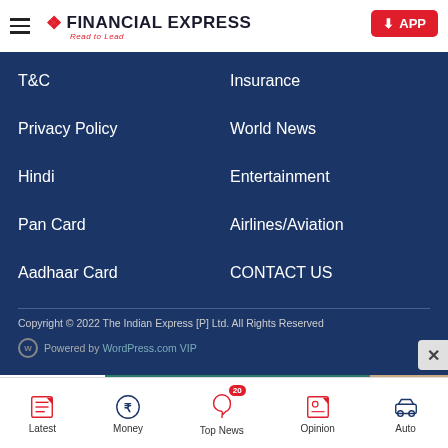Financial Express — Read to Lead
T&C
Insurance
Privacy Policy
World News
Hindi
Entertainment
Pan Card
Airlines/Aviation
Aadhaar Card
CONTACT US
Copyright © 2022 The Indian Express [P] Ltd. All Rights Reserved
Powered by WordPress.com VIP
[Figure (other): Advertisement banner: Cadence Living - Independent, Assisted Living & Memory Care. Request Info.]
Latest | Money | Top News (20) | Opinion | Auto